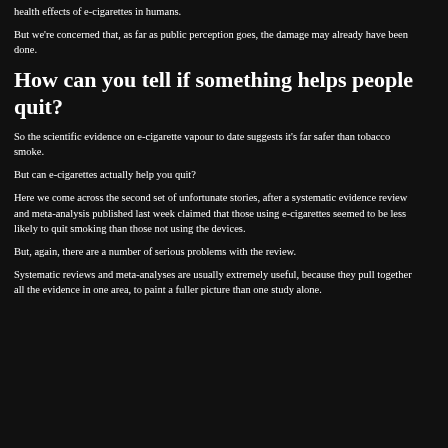health effects of e-cigarettes in humans.
But we're concerned that, as far as public perception goes, the damage may already have been done.
How can you tell if something helps people quit?
So the scientific evidence on e-cigarette vapour to date suggests it's far safer than tobacco smoke.
But can e-cigarettes actually help you quit?
Here we come across the second set of unfortunate stories, after a systematic evidence review and meta-analysis published last week claimed that those using e-cigarettes seemed to be less likely to quit smoking than those not using the devices.
But, again, there are a number of serious problems with the review.
Systematic reviews and meta-analyses are usually extremely useful, because they pull together all the evidence in one area, to paint a fuller picture than one study alone.